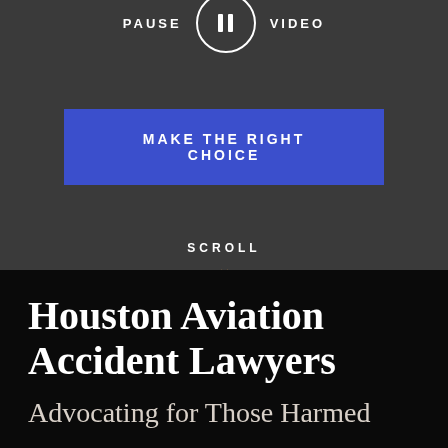[Figure (screenshot): Pause video button UI with circle pause icon, flanked by 'PAUSE' and 'VIDEO' text labels in white uppercase on dark gray background]
MAKE THE RIGHT CHOICE
SCROLL
Houston Aviation Accident Lawyers
Advocating for Those Harmed